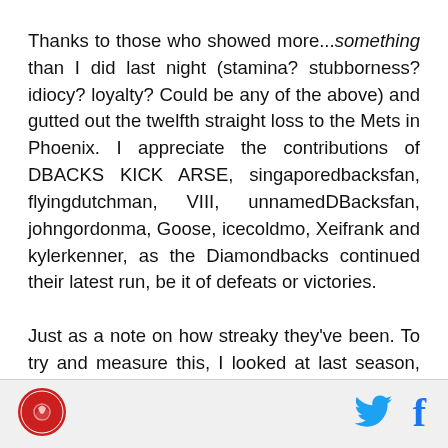Thanks to those who showed more...something than I did last night (stamina? stubborness? idiocy? loyalty? Could be any of the above) and gutted out the twelfth straight loss to the Mets in Phoenix. I appreciate the contributions of DBACKS KICK ARSE, singaporedbacksfan, flyingdutchman, VIII, unnamedDBacksfan, johngordonma, Goose, icecoldmo, Xeifrank and kylerkenner, as the Diamondbacks continued their latest run, be it of defeats or victories.

Just as a note on how streaky they've been. To try and measure this, I looked at last season, and how good their performance in the previous game was, as a
[Figure (logo): Circular red logo with snake/bird icon, appears to be a sports blog logo]
[Figure (logo): Twitter bird icon in cyan/blue]
[Figure (logo): Facebook f icon in blue]